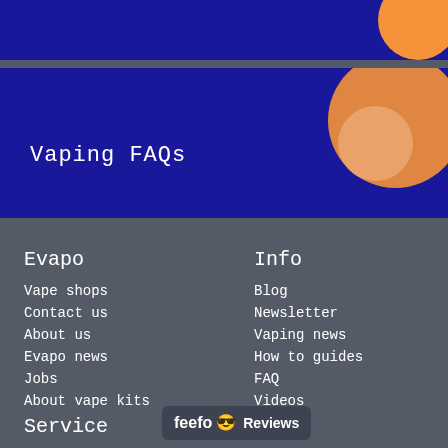[Figure (illustration): Dark blue banner at top with orange circle decoration on right]
[Figure (illustration): Dark blue banner with text 'Vaping FAQs' and orange circle decorations on right side]
Vaping FAQs
Evapo
Vape shops
Contact us
About us
Evapo news
Jobs
About vape kits
Info
Blog
Newsletter
Vaping news
How to guides
FAQ
Videos
Service
[Figure (logo): Feefo Reviews badge with yellow eyes emoji]